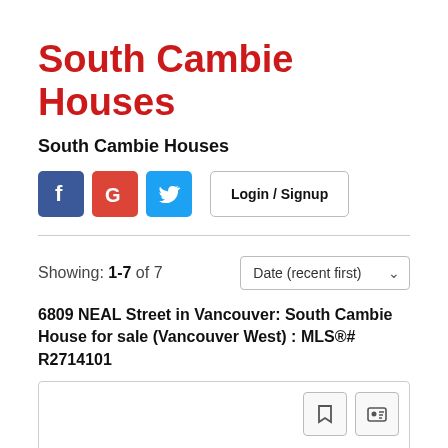South Cambie Houses
South Cambie Houses
[Figure (infographic): Social login buttons: Facebook (blue), Google (red), Twitter (blue), and a Login / Signup button]
Showing: 1-7 of 7
Date (recent first)
6809 NEAL Street in Vancouver: South Cambie House for sale (Vancouver West) : MLS®# R2714101
[Figure (other): Listing card with bookmark and contact icons]